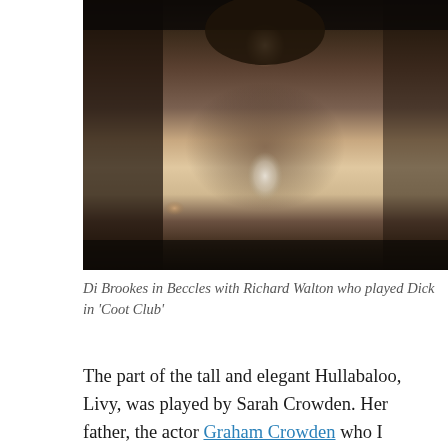[Figure (photo): A man in a brown jacket and white shirt photographed in Beccles, with other people partially visible around him.]
Di Brookes in Beccles with Richard Walton who played Dick in 'Coot Club'
The part of the tall and elegant Hullabaloo, Livy, was played by Sarah Crowden. Her father, the actor Graham Crowden who I always think of as Tom Ballard in his Sit-com Waiting For God, was offered the part of the fourth Doctor Who , after Jon Pertwee but he turned down the opportunity as it was such a commitment. Instead he played Soldeed in The Horns of Nimon in 1980 after Tom Baker had being